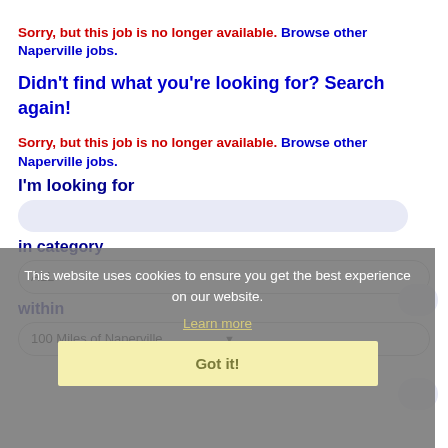Sorry, but this job is no longer available. Browse other Naperville jobs.
Didn't find what you're looking for? Search again!
Sorry, but this job is no longer available. Browse other Naperville jobs.
I'm looking for
in category
ALL
within
100 Miles of Naperville
This website uses cookies to ensure you get the best experience on our website. Learn more
Got it!